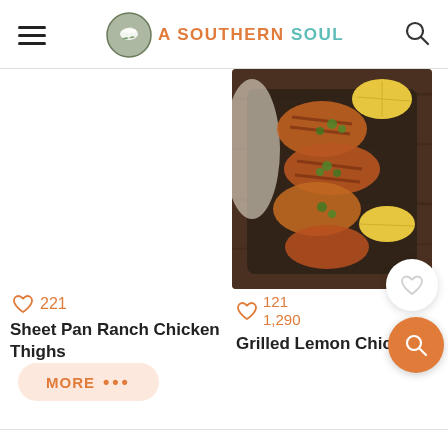A SOUTHERN SOUL
[Figure (photo): Grilled lemon chicken pieces on a dark tray with lemon wedges and herbs]
♡ 221
♡ 121
1,290
Sheet Pan Ranch Chicken Thighs
Grilled Lemon Chicken
MORE •••